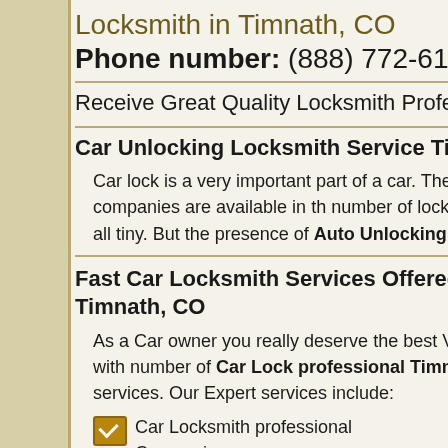Locksmith in Timnath, CO
Phone number: (888) 772-6136
Receive Great Quality Locksmith Professional solutions
Car Unlocking Locksmith Service Timnath, CO (8054…
Car lock is a very important part of a car. The car locks ensure security Numerous car locksmith companies are available in the number of locksmith professional service offering organizations not at all tiny. But the presence of Auto Unlocking Timnath CO organizations are in no way noticed.
Fast Car Locksmith Services Offered by Car Unlocking Timnath, CO
As a Car owner you really deserve the best Vehicle locksmith you want to just dial the get in touch with number of Car Locksmith professional Timnath CO. We're always busy in providing you Expert services. Our Expert services include:
Car Locksmith professional Companies
Removal of broken
Car Entry
Lost Car Key Duplication
Car Keyless